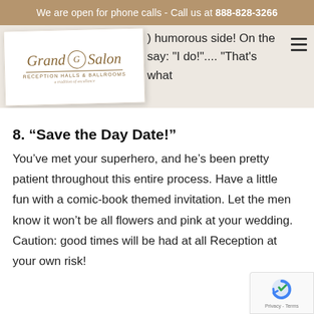We are open for phone calls - Call us at 888-828-3266
[Figure (logo): Grand Salon logo card with script text 'Grand G Salon' and subtitle 'Reception Halls & Ballrooms']
) humorous side! On the fr... say: "I do!".... "That's what she said."
8. “Save the Day Date!”
You’ve met your superhero, and he’s been pretty patient throughout this entire process. Have a little fun with a comic-book themed invitation. Let the men know it won’t be all flowers and pink at your wedding. Caution: good times will be had at all Reception at your own risk!